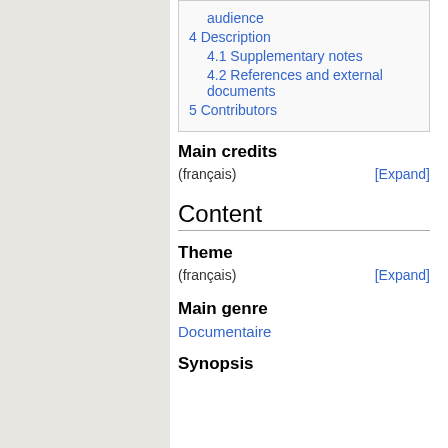audience
4 Description
4.1 Supplementary notes
4.2 References and external documents
5 Contributors
Main credits
(français) [Expand]
Content
Theme
(français) [Expand]
Main genre
Documentaire
Synopsis